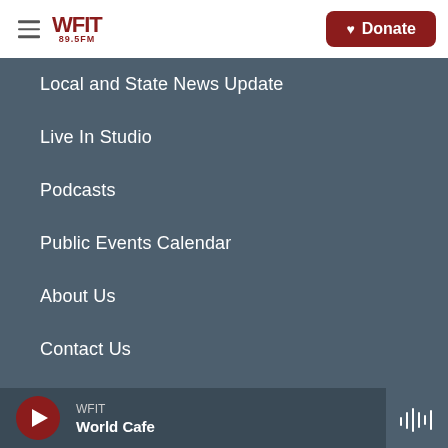WFIT 89.5FM | Donate
Local and State News Update
Live In Studio
Podcasts
Public Events Calendar
About Us
Contact Us
Support WFIT
Florida Tech
WFIT | World Cafe